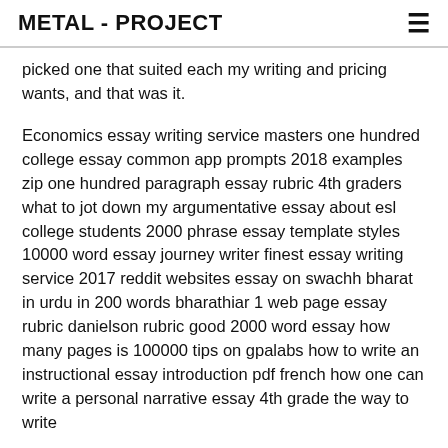METAL - PROJECT
picked one that suited each my writing and pricing wants, and that was it.
Economics essay writing service masters one hundred college essay common app prompts 2018 examples zip one hundred paragraph essay rubric 4th graders what to jot down my argumentative essay about esl college students 2000 phrase essay template styles 10000 word essay journey writer finest essay writing service 2017 reddit websites essay on swachh bharat in urdu in 200 words bharathiar 1 web page essay rubric danielson rubric good 2000 word essay how many pages is 100000 tips on gpalabs how to write an instructional essay introduction pdf french how one can write a personal narrative essay 4th grade the way to write